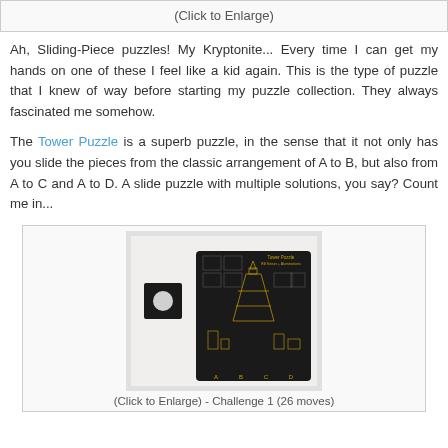(Click to Enlarge)
Ah, Sliding-Piece puzzles! My Kryptonite... Every time I can get my hands on one of these I feel like a kid again. This is the type of puzzle that I knew of way before starting my puzzle collection. They always fascinated me somehow.
The Tower Puzzle is a superb puzzle, in the sense that it not only has you slide the pieces from the classic arrangement of A to B, but also from A to C and A to D. A slide puzzle with multiple solutions, you say? Count me in...
[Figure (photo): Photo of the Tower Puzzle showing a black sliding-piece puzzle board with gold Eiffel Tower design, alongside a small black square piece with a circular hole]
(Click to Enlarge) - Challenge 1 (26 moves)